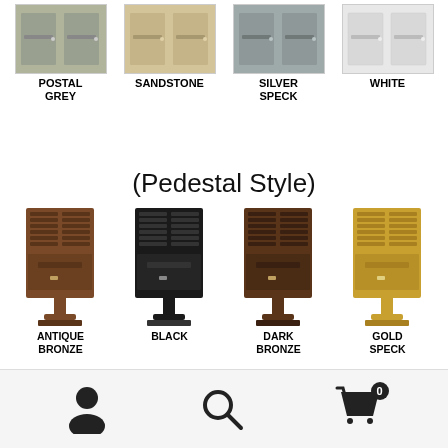[Figure (photo): Four mailbox color swatches shown top: Postal Grey, Sandstone, Silver Speck, White]
POSTAL GREY
SANDSTONE
SILVER SPECK
WHITE
(Pedestal Style)
[Figure (photo): Four pedestal-style mailboxes: Antique Bronze, Black, Dark Bronze, Gold Speck]
ANTIQUE BRONZE
BLACK
DARK BRONZE
GOLD SPECK
[Figure (photo): Partial bottom row of mailboxes in light colors]
Navigation icons: user account, search, shopping cart (0)